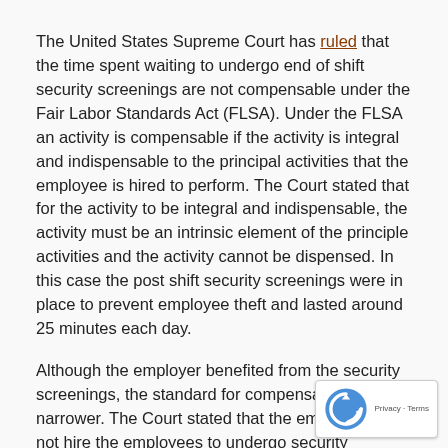The United States Supreme Court has ruled that the time spent waiting to undergo end of shift security screenings are not compensable under the Fair Labor Standards Act (FLSA). Under the FLSA an activity is compensable if the activity is integral and indispensable to the principal activities that the employee is hired to perform. The Court stated that for the activity to be integral and indispensable, the activity must be an intrinsic element of the principle activities and the activity cannot be dispensed. In this case the post shift security screenings were in place to prevent employee theft and lasted around 25 minutes each day.
Although the employer benefited from the security screenings, the standard for compensable time is narrower. The Court stated that the employer did not hire the employees to undergo security screenings, but rather the employees were hired to retrieve products from warehouse shelves. Further, the Court stated that the employer could eliminate the screenings and the employees' ability to complete their work would not be impacted.